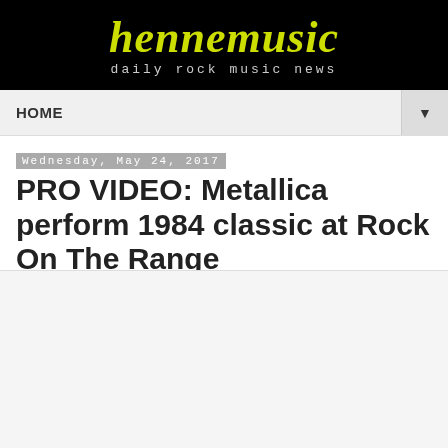hennemusic
daily rock music news
HOME
Wednesday, May 24, 2017
PRO VIDEO: Metallica perform 1984 classic at Rock On The Range
[Figure (other): Embedded video player placeholder (light grey rectangle)]